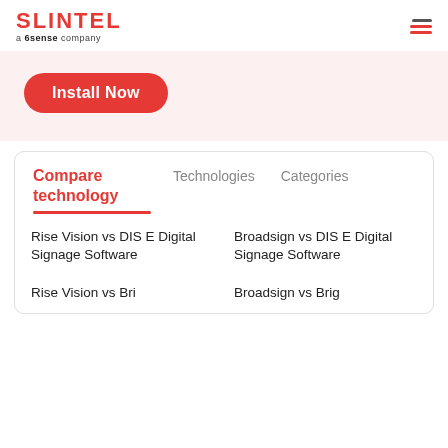SLINTEL a 6sense company
[Figure (screenshot): Red pill-shaped Install Now button on a light pink banner background]
Compare technology
Technologies    Categories
Rise Vision vs DIS E Digital Signage Software
Broadsign vs DIS E Digital Signage Software
Rise Vision vs Bri
Broadsign vs Brig